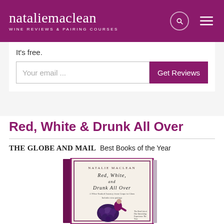natalie maclean — WINE REVIEWS & PAIRING COURSES
It's free.
Your email ...
Get Reviews
Red, White & Drunk All Over
THE GLOBE AND MAIL Best Books of the Year
[Figure (photo): Book cover for 'Red, White, and Drunk All Over' by Natalie MacLean, showing a person sitting on large grapes with book title text on a cream/white background with dark red border.]